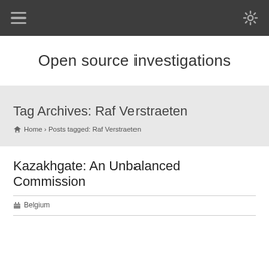☰  ⚙
Open source investigations
Tag Archives: Raf Verstraeten
🏠 Home › Posts tagged: Raf Verstraeten
Kazakhgate: An Unbalanced Commission
☑ Belgium